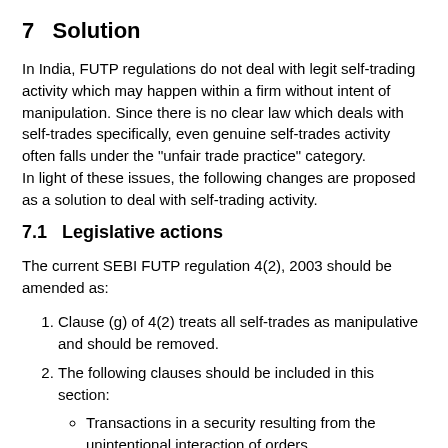7   Solution
In India, FUTP regulations do not deal with legit self-trading activity which may happen within a firm without intent of manipulation. Since there is no clear law which deals with self-trades specifically, even genuine self-trades activity often falls under the "unfair trade practice" category. In light of these issues, the following changes are proposed as a solution to deal with self-trading activity.
7.1   Legislative actions
The current SEBI FUTP regulation 4(2), 2003 should be amended as:
Clause (g) of 4(2) treats all self-trades as manipulative and should be removed.
The following clauses should be included in this section:
Transactions in a security resulting from the unintentional interaction of orders
originating from the same firm that involve...